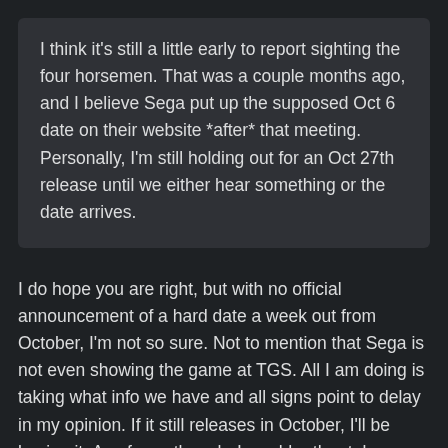I think it's still a little early to report sighting the four horsemen. That was a couple months ago, and I believe Sega put up the supposed Oct 6 date on their website *after* that meeting. Personally, I'm still holding out for an Oct 27th release until we either hear something or the date arrives.
I do hope you are right, but with no official announcement of a hard date a week out from October, I'm not so sure. Not to mention that Sega is not even showing the game at TGS. All I am doing is taking what info we have and all signs point to delay in my opinion. If it still releases in October, I'll be buying it. As of now though, I would rather take my money and